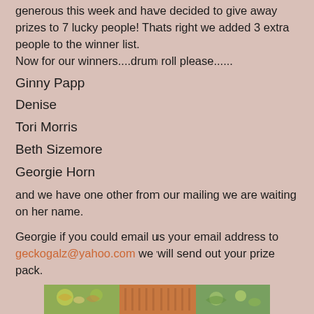generous this week and have decided to give away prizes to 7 lucky people! Thats right we added 3 extra people to the winner list.
Now for our winners....drum roll please......
Ginny Papp
Denise
Tori Morris
Beth Sizemore
Georgie Horn
and we have one other from our mailing we are waiting on her name.
Georgie if you could email us your email address to geckogalz@yahoo.com we will send out your prize pack.
[Figure (photo): A decorative strip image showing colorful vintage-style illustrations including butterflies and sheet music at the bottom of the page.]